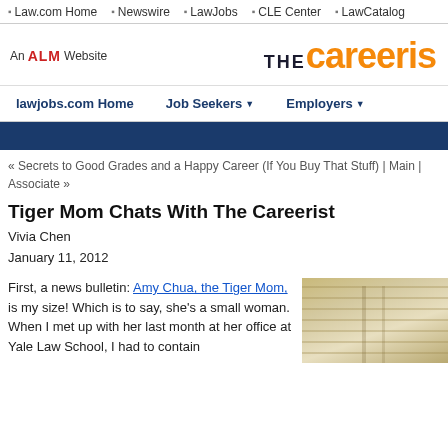Law.com Home | Newswire | LawJobs | CLE Center | LawCatalog
[Figure (logo): The Careerist website logo — 'An ALM Website' badge on left, 'THE careerist' logo in dark blue/orange on right]
lawjobs.com Home | Job Seekers | Employers
« Secrets to Good Grades and a Happy Career (If You Buy That Stuff) | Main | Associate »
Tiger Mom Chats With The Careerist
Vivia Chen
January 11, 2012
First, a news bulletin: Amy Chua, the Tiger Mom, is my size! Which is to say, she's a small woman. When I met up with her last month at her office at Yale Law School, I had to contain
[Figure (photo): Partial photo of window blinds or shutters, warm golden/beige tones]